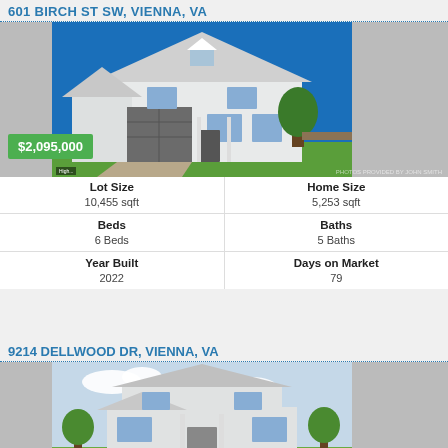601 BIRCH ST SW, VIENNA, VA
[Figure (photo): Exterior photo of a two-story white/light gray craftsman-style house with dark garage door, landscaped front yard, blue sky background. Price overlay shows $2,095,000 in green badge.]
| Lot Size | Home Size |
| --- | --- |
| 10,455 sqft | 5,253 sqft |
| Beds | Baths |
| 6 Beds | 5 Baths |
| Year Built | Days on Market |
| 2022 | 79 |
9214 DELLWOOD DR, VIENNA, VA
[Figure (photo): Exterior photo of a two-story white craftsman-style home with covered porch and columns, cloudy sky background.]